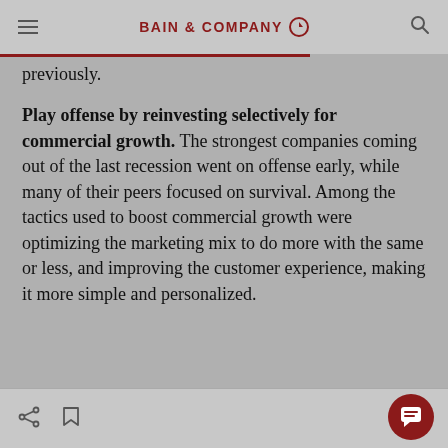BAIN & COMPANY
previously.
Play offense by reinvesting selectively for commercial growth. The strongest companies coming out of the last recession went on offense early, while many of their peers focused on survival. Among the tactics used to boost commercial growth were optimizing the marketing mix to do more with the same or less, and improving the customer experience, making it more simple and personalized.